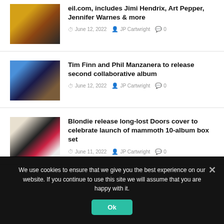[Figure (photo): Album cover thumbnail for eil.com article]
eil.com, includes Jimi Hendrix, Art Pepper, Jennifer Warnes & more
June 12, 2022 JP Cartwright 0
[Figure (photo): Tim Finn and Phil Manzanera photo thumbnail]
Tim Finn and Phil Manzanera to release second collaborative album
June 12, 2022 JP Cartwright 0
[Figure (photo): Blondie band photo thumbnail]
Blondie release long-lost Doors cover to celebrate launch of mammoth 10-album box set
June 11, 2022 JP Cartwright 0
We use cookies to ensure that we give you the best experience on our website. If you continue to use this site we will assume that you are happy with it.